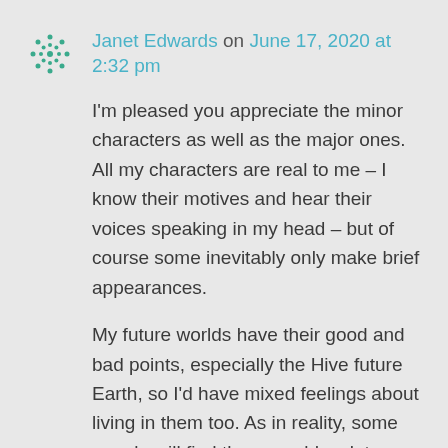Janet Edwards on June 17, 2020 at 2:32 pm
I'm pleased you appreciate the minor characters as well as the major ones. All my characters are real to me – I know their motives and hear their voices speaking in my head – but of course some inevitably only make brief appearances.
My future worlds have their good and bad points, especially the Hive future Earth, so I'd have mixed feelings about living in them too. As in reality, some people will find those worlds a lot more pleasant than others. For example, it could be wonderful living in Beta sector if you were born into